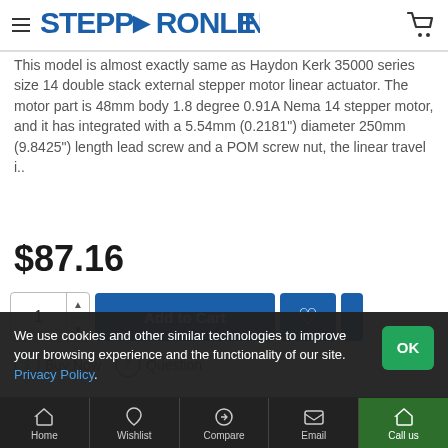STEPPERONLINE
This model is almost exactly same as Haydon Kerk 35000 series size 14 double stack external stepper motor linear actuator. The motor part is 48mm body 1.8 degree 0.91A Nema 14 stepper motor, and it has integrated with a 5.54mm (0.2181") diameter 250mm (9.8425") length lead screw and a POM screw nut, the linear travel i..
$87.16
Add to Cart
Buy Now  Question
We use cookies and other similar technologies to improve your browsing experience and the functionality of our site. Privacy Policy.
Home  Wishlist  Compare  Email  Call us